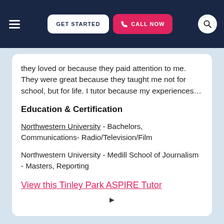GET STARTED | CALL NOW
they loved or because they paid attention to me. They were great because they taught me not for school, but for life. I tutor because my experiences…
Education & Certification
Northwestern University - Bachelors, Communications- Radio/Television/Film
Northwestern University - Medill School of Journalism - Masters, Reporting
View this Tinley Park ASPIRE Tutor
▶